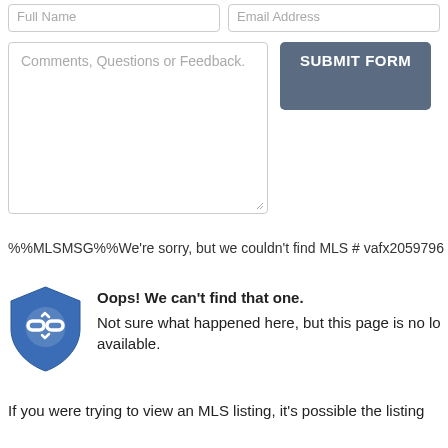Full Name | Email Address
Comments, Questions or Feedback.
SUBMIT FORM
%%MLSMSG%%We're sorry, but we couldn't find MLS # vafx2059796 in our data.
Oops! We can't find that one.
Not sure what happened here, but this page is no longer available.
If you were trying to view an MLS listing, it's possible the listing